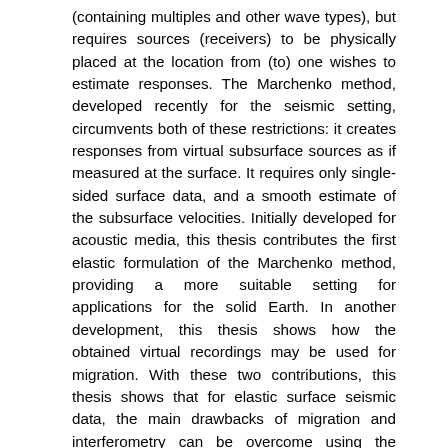(containing multiples and other wave types), but requires sources (receivers) to be physically placed at the location from (to) one wishes to estimate responses. The Marchenko method, developed recently for the seismic setting, circumvents both of these restrictions: it creates responses from virtual subsurface sources as if measured at the surface. It requires only single-sided surface data, and a smooth estimate of the subsurface velocities. Initially developed for acoustic media, this thesis contributes the first elastic formulation of the Marchenko method, providing a more suitable setting for applications for the solid Earth. In another development, this thesis shows how the obtained virtual recordings may be used for migration. With these two contributions, this thesis shows that for elastic surface seismic data, the main drawbacks of migration and interferometry can be overcome using the Marchenko method: multiples do not harm migrated images, and sources (receivers) need not be physically placed in the medium for their responses to be accessible. In addition to the above methods, generating images devoid of multiple-related artifacts can be achieved in several other different ways. Two approaches to this are the use